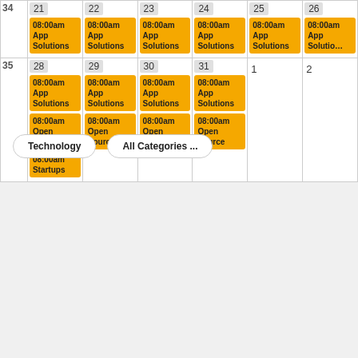| Wk | 21 | 22 | 23 | 24 | 25 | 26 |
| --- | --- | --- | --- | --- | --- | --- |
| 34 | 08:00am App Solutions | 08:00am App Solutions | 08:00am App Solutions | 08:00am App Solutions | 08:00am App Solutions | 08:00am App Solutions |
| 35 | 08:00am App Solutions
08:00am Open Source
08:00am Startups | 08:00am App Solutions
08:00am Open Source | 08:00am App Solutions
08:00am Open Source | 08:00am App Solutions
08:00am Open Source |  |  |
Technology
All Categories ...